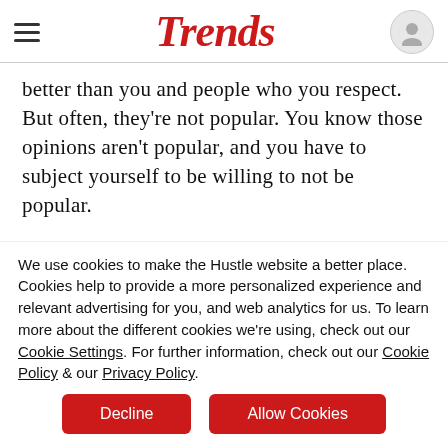Trends
better than you and people who you respect. But often, they're not popular. You know those opinions aren't popular, and you have to subject yourself to be willing to not be popular.
If you think of so much what we do at
We use cookies to make the Hustle website a better place. Cookies help to provide a more personalized experience and relevant advertising for you, and web analytics for us. To learn more about the different cookies we're using, check out our Cookie Settings. For further information, check out our Cookie Policy & our Privacy Policy.